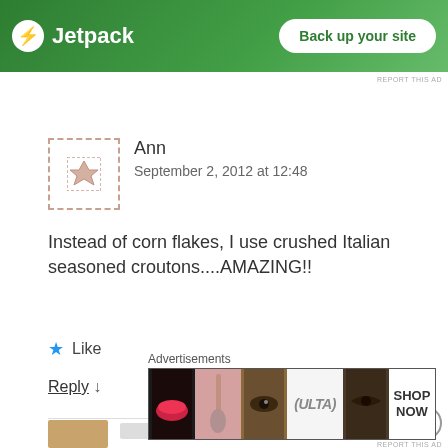[Figure (screenshot): Jetpack green banner advertisement with bolt logo and 'Back up your site' button]
REPORT THIS AD
Ann
September 2, 2012 at 12:48
Instead of corn flakes, I use crushed Italian seasoned croutons....AMAZING!!
★ Like
Reply ↓
[Figure (screenshot): Bottom advertisement banner showing Ulta beauty products with 'SHOP NOW' text]